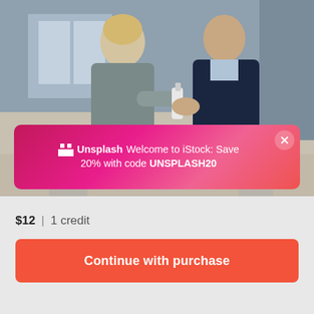[Figure (photo): Two business professionals, a woman in a grey blazer and a man in a dark navy suit, standing indoors. The woman is spraying hand sanitizer onto the man's hands. Office/lobby environment in the background.]
Welcome to iStock: Save 20% with code UNSPLASH20
$12 | 1 credit
Continue with purchase